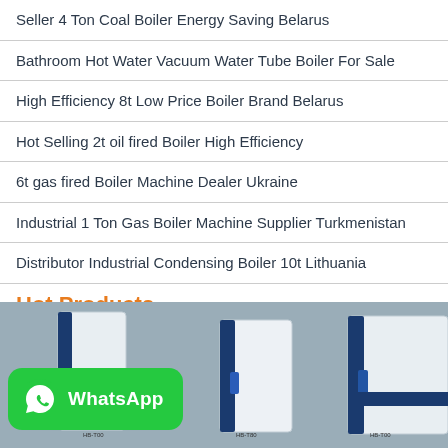Seller 4 Ton Coal Boiler Energy Saving Belarus
Bathroom Hot Water Vacuum Water Tube Boiler For Sale
High Efficiency 8t Low Price Boiler Brand Belarus
Hot Selling 2t oil fired Boiler High Efficiency
6t gas fired Boiler Machine Dealer Ukraine
Industrial 1 Ton Gas Boiler Machine Supplier Turkmenistan
Distributor Industrial Condensing Boiler 10t Lithuania
Hot Products
[Figure (photo): Industrial boiler units (HB-T00 series) shown side by side with a WhatsApp contact badge overlay in the lower left corner]